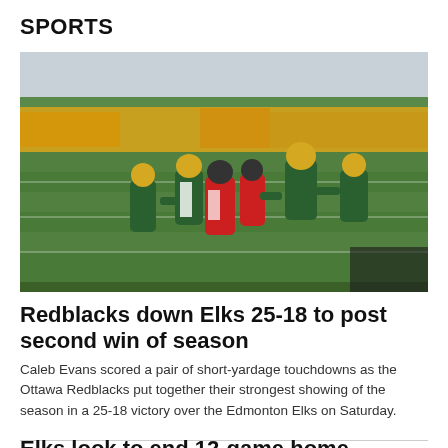SPORTS
[Figure (photo): CFL football game action photo showing Edmonton Elks players in green and gold uniforms tackling Ottawa Redblacks players in red and white uniforms on the field, with a packed stadium in the background featuring green seats and yellow/orange crowd.]
Redblacks down Elks 25-18 to post second win of season
Caleb Evans scored a pair of short-yardage touchdowns as the Ottawa Redblacks put together their strongest showing of the season in a 25-18 victory over the Edmonton Elks on Saturday.
Elks look to end 12-game home losing streak in